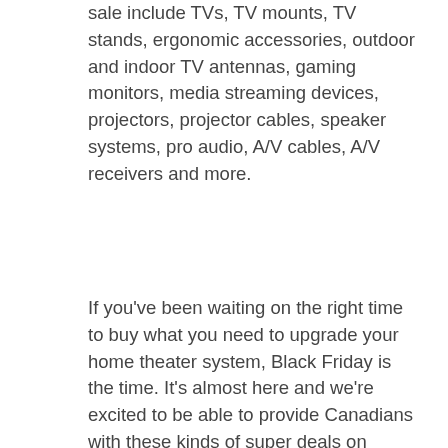sale include TVs, TV mounts, TV stands, ergonomic accessories, outdoor and indoor TV antennas, gaming monitors, media streaming devices, projectors, projector cables, speaker systems, pro audio, A/V cables, A/V receivers and more.
If you've been waiting on the right time to buy what you need to upgrade your home theater system, Black Friday is the time. It's almost here and we're excited to be able to provide Canadians with these kinds of super deals on numerous products. Cutting prices across the board, you'll find budget TVs, budget speaker systems, and a lot of accessories that can be used to manufacture an amazing setup for your home. There are hundreds of products to browse, some more expensive than others. Rumour